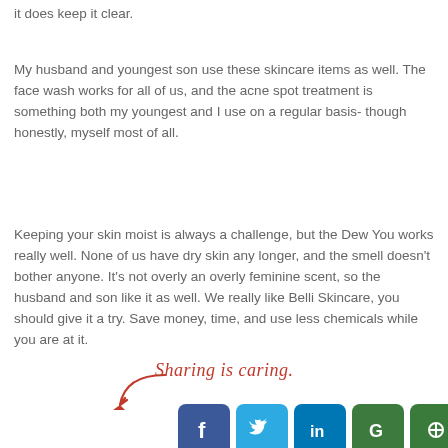it does keep it clear.
My husband and youngest son use these skincare items as well. The face wash works for all of us, and the acne spot treatment is something both my youngest and I use on a regular basis- though honestly, myself most of all.
Keeping your skin moist is always a challenge, but the Dew You works really well. None of us have dry skin any longer, and the smell doesn't bother anyone. It's not overly an overly feminine scent, so the husband and son like it as well. We really like Belli Skincare, you should give it a try. Save money, time, and use less chemicals while you are at it.
[Figure (infographic): Sharing is caring text in red cursive with a red arrow pointing to social media icons: Facebook, Twitter, LinkedIn, Google+, and another green icon]